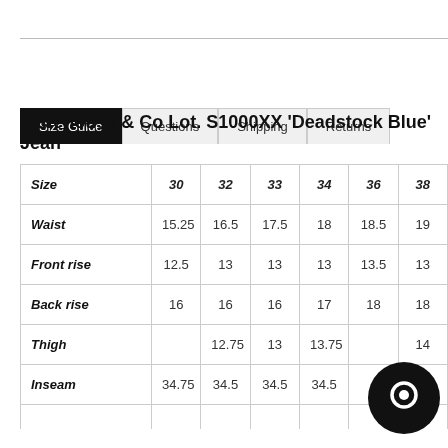Size Guide | Questions | Shipping | Returns
Warehouse & Co Lot. S1000XX 'Deadstock Blue' Jean
| Size | 30 | 32 | 33 | 34 | 36 | 38 |
| --- | --- | --- | --- | --- | --- | --- |
| Waist | 15.25 | 16.5 | 17.5 | 18 | 18.5 | 19 |
| Front rise | 12.5 | 13 | 13 | 13 | 13.5 | 13 |
| Back rise | 16 | 16 | 16 | 17 | 18 | 18 |
| Thigh |  | 12.75 | 13 | 13.75 |  | 14 |
| Inseam | 34.75 | 34.5 | 34.5 | 34.5 |  | 35 |